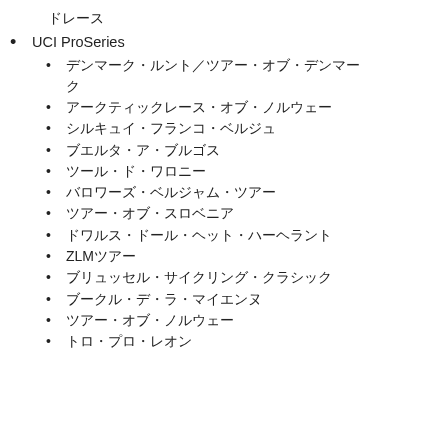ドレース
UCI ProSeries
デンマーク・ルント／ツアー・オブ・デンマーク
アークティックレース・オブ・ノルウェー
シルキュイ・フランコ・ベルジュ
ブエルタ・ア・ブルゴス
ツール・ド・ワロニー
バロワーズ・ベルジャム・ツアー
ツアー・オブ・スロベニア
ドワルス・ドール・ヘット・ハーヘラント
ZLMツアー
ブリュッセル・サイクリング・クラシック
ブークル・デ・ラ・マイエンヌ
ツアー・オブ・ノルウェー
トロ・プロ・レオン